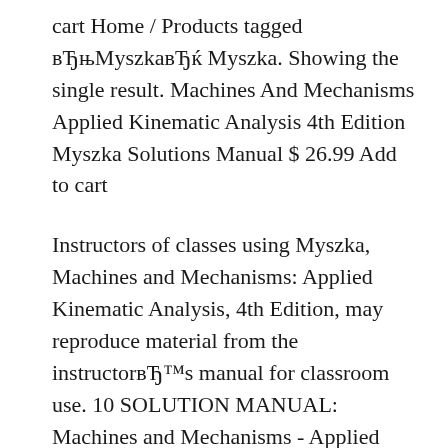cart Home / Products tagged вЂњMyszkавЂќ Myszka. Showing the single result. Machines And Mechanisms Applied Kinematic Analysis 4th Edition Myszka Solutions Manual $ 26.99 Add to cart
Instructors of classes using Myszka, Machines and Mechanisms: Applied Kinematic Analysis, 4th Edition, may reproduce material from the instructorвЂ™s manual for classroom use. 10 SOLUTION MANUAL: Machines and Mechanisms - Applied Kinematic Analysis, 3E by Myszka I have the instructor solution manuals to accompany mathematical, machines and mechanisms applied kinematic This whole solutions manual is a pile of Machines and Mechanisms Applied Kinematic...